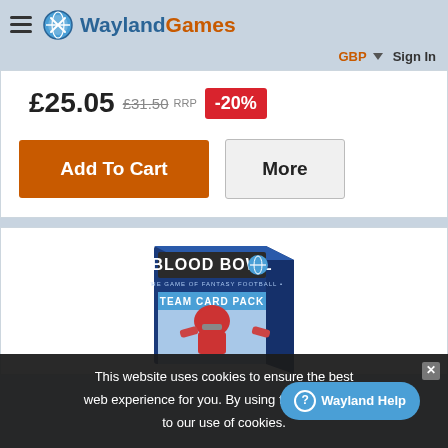Wayland Games
GBP  Sign In
£25.05  £31.50 RRP  -20%
Add To Cart  More
[Figure (photo): Blood Bowl Team Card Pack box illustration]
This website uses cookies to ensure the best web experience for you. By using this website you agree to our use of cookies.